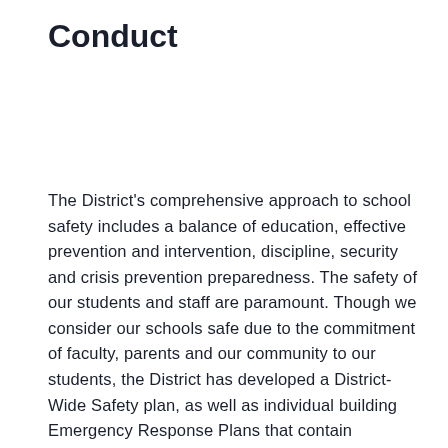Conduct
The District's comprehensive approach to school safety includes a balance of education, effective prevention and intervention, discipline, security and crisis prevention preparedness. The safety of our students and staff are paramount. Though we consider our schools safe due to the commitment of faculty, parents and our community to our students, the District has developed a District-Wide Safety plan, as well as individual building Emergency Response Plans that contain protocols to guide expeditious and effective responses to emergency situations. The District has worked closely with police, fire, EMS and government...